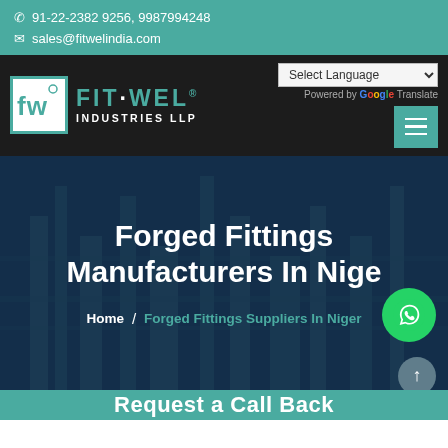91-22-2382 9256, 9987994248 | sales@fitwelindia.com
[Figure (logo): Fit-Wel Industries LLP logo with teal text and border]
Select Language | Powered by Google Translate
Forged Fittings Manufacturers In Niger
Home / Forged Fittings Suppliers In Niger
Request a Call Back